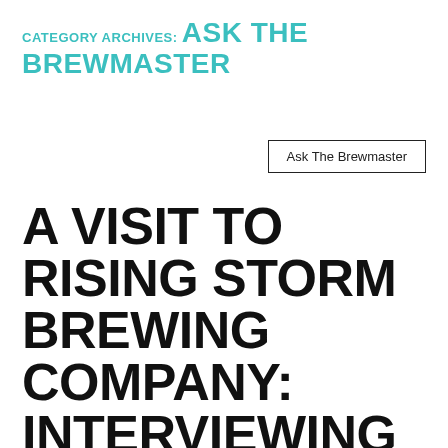CATEGORY ARCHIVES: ASK THE BREWMASTER
Ask The Brewmaster
A VISIT TO RISING STORM BREWING COMPANY: INTERVIEWING BILL AND JEFF ABOUT GOING PRO